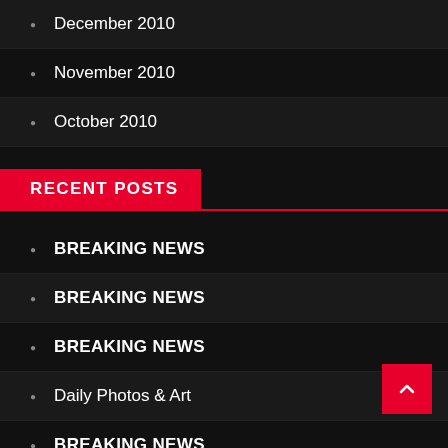December 2010
November 2010
October 2010
RECENT POSTS
BREAKING NEWS
BREAKING NEWS
BREAKING NEWS
Daily Photos & Art
BREAKING NEWS